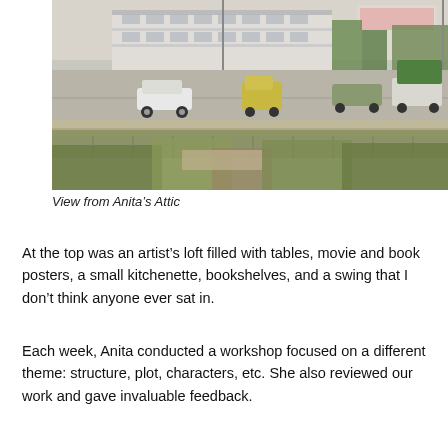[Figure (photo): Street scene viewed from an elevated position (Anita's Attic). Shows a wide road with cars including a white hatchback, an auto-rickshaw, and other vehicles. Buildings visible in the background including a multi-story commercial block. Trees and a concrete retaining wall with vegetation in the foreground. Daytime, sunny conditions.]
View from Anita’s Attic
At the top was an artist’s loft filled with tables, movie and book posters, a small kitchenette, bookshelves, and a swing that I don’t think anyone ever sat in.
Each week, Anita conducted a workshop focused on a different theme: structure, plot, characters, etc. She also reviewed our work and gave invaluable feedback.
Each week, Anita conducted a workshop focused on a different theme: structure, plot, characters, etc. She also reviewed our work and gave invaluable feedback.